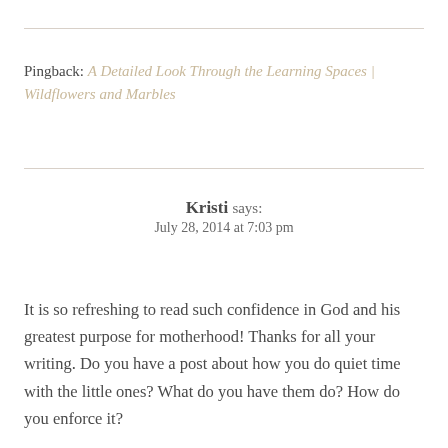Pingback: A Detailed Look Through the Learning Spaces | Wildflowers and Marbles
Kristi says: July 28, 2014 at 7:03 pm
It is so refreshing to read such confidence in God and his greatest purpose for motherhood! Thanks for all your writing. Do you have a post about how you do quiet time with the little ones? What do you have them do? How do you enforce it?